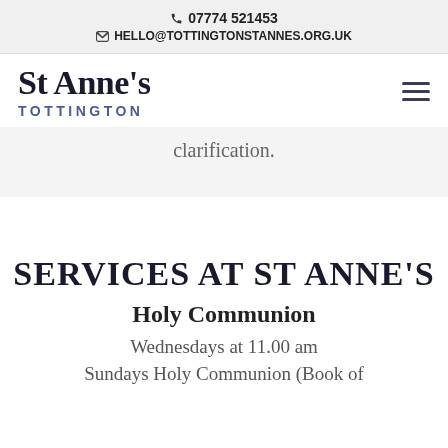07774 521453
HELLO@TOTTINGTONSTANNES.ORG.UK
[Figure (logo): St Anne's Tottington church logo with text and hamburger menu icon]
clarification.
SERVICES AT ST ANNE'S
Holy Communion
Wednesdays at 11.00 am
Sundays Holy Communion (Book of